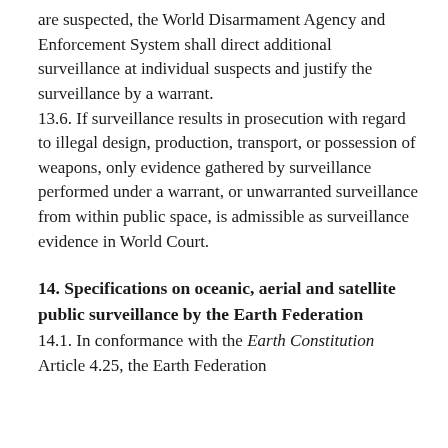are suspected, the World Disarmament Agency and Enforcement System shall direct additional surveillance at individual suspects and justify the surveillance by a warrant. 13.6. If surveillance results in prosecution with regard to illegal design, production, transport, or possession of weapons, only evidence gathered by surveillance performed under a warrant, or unwarranted surveillance from within public space, is admissible as surveillance evidence in World Court.
14. Specifications on oceanic, aerial and satellite public surveillance by the Earth Federation
14.1. In conformance with the Earth Constitution Article 4.25, the Earth Federation